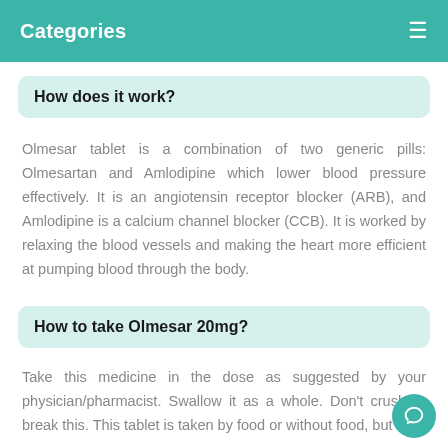Categories
How does it work?
Olmesar tablet is a combination of two generic pills: Olmesartan and Amlodipine which lower blood pressure effectively. It is an angiotensin receptor blocker (ARB), and Amlodipine is a calcium channel blocker (CCB). It is worked by relaxing the blood vessels and making the heart more efficient at pumping blood through the body.
How to take Olmesar 20mg?
Take this medicine in the dose as suggested by your physician/pharmacist. Swallow it as a whole. Don't crush or break this. This tablet is taken by food or without food, but